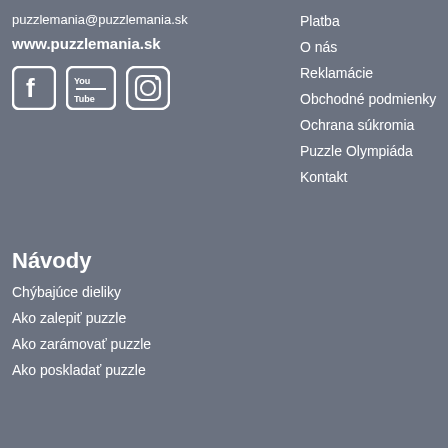puzzlemania@puzzlemania.sk
www.puzzlemania.sk
[Figure (illustration): Social media icons: Facebook, YouTube, Instagram]
Platba
O nás
Reklamácie
Obchodné podmienky
Ochrana súkromia
Puzzle Olympiáda
Kontakt
Návody
Chýbajúce dieliky
Ako zalepiť puzzle
Ako zarámovať puzzle
Ako poskladať puzzle